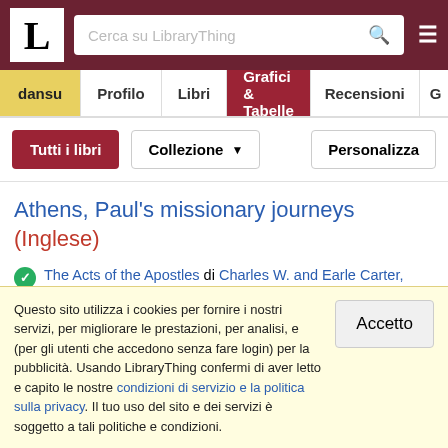L — Cerca su LibraryThing
dansu | Profilo | Libri | Grafici & Tabelle | Recensioni | G
Tutti i libri | Collezione ▼ | Personalizza
Athens, Paul's missionary journeys (Inglese)
The Acts of the Apostles di Charles W. and Earle Carter, Ralph (Acts 17:15)
The Acts of the Apostles di G. Campbell Morgan (Acts 17:15)
The Acts Of The Apostles: The Greek Text with Introduction and Commentary di Frederick Fyvie Bruce (Acts 17:15)
Questo sito utilizza i cookies per fornire i nostri servizi, per migliorare le prestazioni, per analisi, e (per gli utenti che accedono senza fare login) per la pubblicità. Usando LibraryThing confermi di aver letto e capito le nostre condizioni di servizio e la politica sulla privacy. Il tuo uso del sito e dei servizi è soggetto a tali politiche e condizioni.